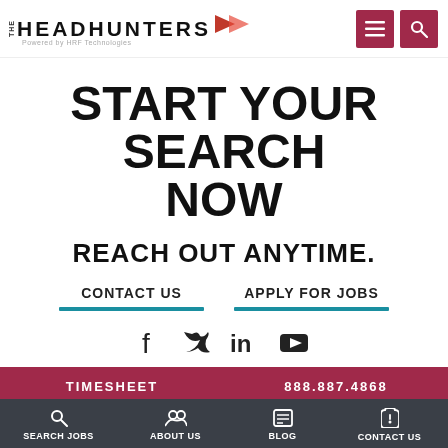THE HEADHUNTERS Powered by HRF Technologies
START YOUR SEARCH NOW
REACH OUT ANYTIME.
CONTACT US
APPLY FOR JOBS
[Figure (infographic): Social media icons: Facebook, Twitter, LinkedIn, YouTube]
TIMESHEET
888.887.4868
SEARCH JOBS | ABOUT US | BLOG | CONTACT US